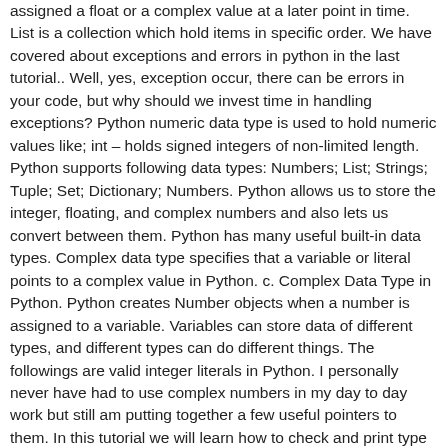assigned a float or a complex value at a later point in time. List is a collection which hold items in specific order. We have covered about exceptions and errors in python in the last tutorial.. Well, yes, exception occur, there can be errors in your code, but why should we invest time in handling exceptions? Python numeric data type is used to hold numeric values like; int – holds signed integers of non-limited length. Python supports following data types: Numbers; List; Strings; Tuple; Set; Dictionary; Numbers. Python allows us to store the integer, floating, and complex numbers and also lets us convert between them. Python has many useful built-in data types. Complex data type specifies that a variable or literal points to a complex value in Python. c. Complex Data Type in Python. Python creates Number objects when a number is assigned to a variable. Variables can store data of different types, and different types can do different things. The followings are valid integer literals in Python. I personally never have had to use complex numbers in my day to day work but still am putting together a few useful pointers to them. In this tutorial we will learn how to check and print type of variable in Python . Number Data Type in Python. We can also represent other numbers in base other than 10 i.e. Write a program to swap two int value without using any temp variable. While in 3.x, the int type got promoted to have unlimited length and they eliminated the long. For